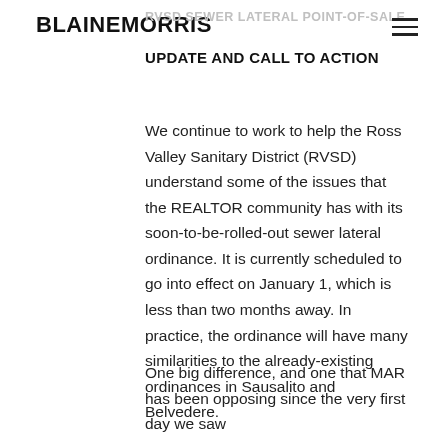BLAINE MORRIS
RVSD SEWER LATERAL POINT-OF-SALE
UPDATE AND CALL TO ACTION
We continue to work to help the Ross Valley Sanitary District (RVSD) understand some of the issues that the REALTOR community has with its soon-to-be-rolled-out sewer lateral ordinance. It is currently scheduled to go into effect on January 1, which is less than two months away. In practice, the ordinance will have many similarities to the already-existing ordinances in Sausalito and Belvedere.
One big difference, and one that MAR has been opposing since the very first day we saw